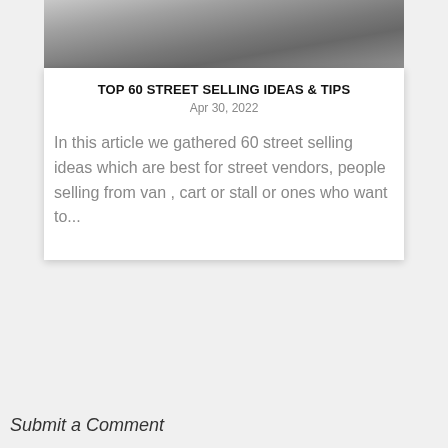[Figure (photo): Street scene photo showing a road with lane markings, taken from a low angle. Black and white/grayscale tones.]
TOP 60 STREET SELLING IDEAS & TIPS
Apr 30, 2022
In this article we gathered 60 street selling ideas which are best for street vendors, people selling from van , cart or stall or ones who want to...
Submit a Comment